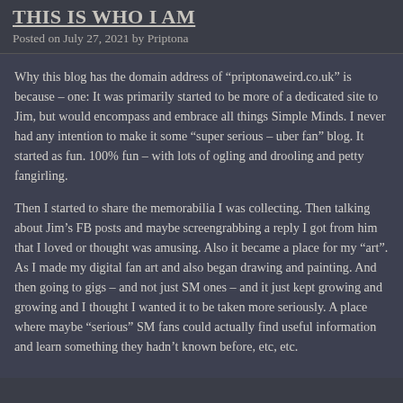THIS IS WHO I AM
Posted on July 27, 2021 by Priptona
Why this blog has the domain address of “priptonaweird.co.uk” is because – one: It was primarily started to be more of a dedicated site to Jim, but would encompass and embrace all things Simple Minds. I never had any intention to make it some “super serious – uber fan” blog. It started as fun. 100% fun – with lots of ogling and drooling and petty fangirling.
Then I started to share the memorabilia I was collecting. Then talking about Jim’s FB posts and maybe screengrabbing a reply I got from him that I loved or thought was amusing. Also it became a place for my “art”. As I made my digital fan art and also began drawing and painting. And then going to gigs – and not just SM ones – and it just kept growing and growing and I thought I wanted it to be taken more seriously. A place where maybe “serious” SM fans could actually find useful information and learn something they hadn’t known before, etc, etc.